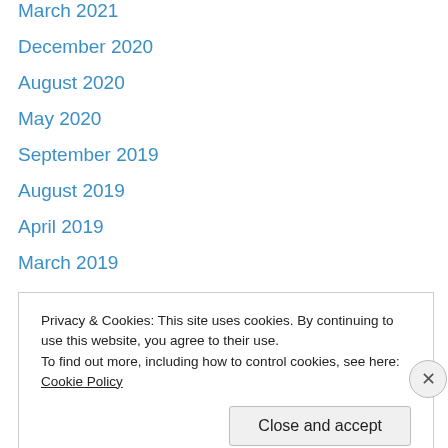March 2021
December 2020
August 2020
May 2020
September 2019
August 2019
April 2019
March 2019
February 2019
January 2019
December 2018
November 2018
October 2018
September 2018
Privacy & Cookies: This site uses cookies. By continuing to use this website, you agree to their use.
To find out more, including how to control cookies, see here: Cookie Policy
Close and accept